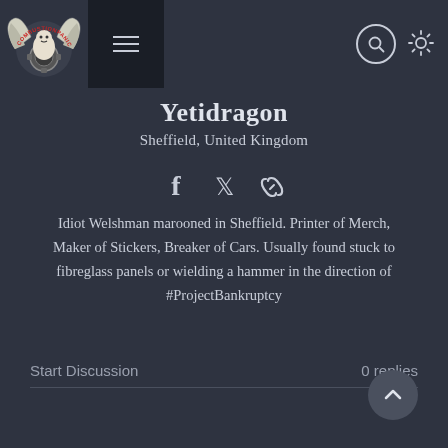[Figure (logo): Combustion Panic logo — winged cartoon character with gear, on dark background]
Yetidragon
Sheffield, United Kingdom
[Figure (infographic): Social icons: Facebook, Twitter, link/chain icon]
Idiot Welshman marooned in Sheffield. Printer of Merch, Maker of Stickers, Breaker of Cars. Usually found stuck to fibreglass panels or wielding a hammer in the direction of #ProjectBankruptcy
Start Discussion
0 replies